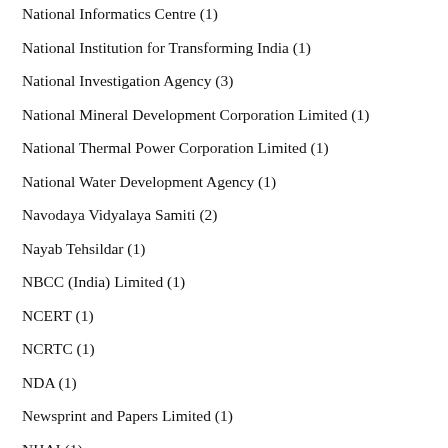National Informatics Centre (1)
National Institution for Transforming India (1)
National Investigation Agency (3)
National Mineral Development Corporation Limited (1)
National Thermal Power Corporation Limited (1)
National Water Development Agency (1)
Navodaya Vidyalaya Samiti (2)
Nayab Tehsildar (1)
NBCC (India) Limited (1)
NCERT (1)
NCRTC (1)
NDA (1)
Newsprint and Papers Limited (1)
NHAI (1)